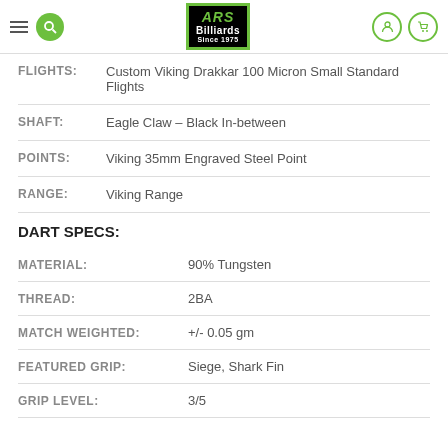ARS Billiards Since 1975
| Field | Value |
| --- | --- |
| FLIGHTS: | Custom Viking Drakkar 100 Micron Small Standard Flights |
| SHAFT: | Eagle Claw – Black In-between |
| POINTS: | Viking 35mm Engraved Steel Point |
| RANGE: | Viking Range |
DART SPECS:
| Field | Value |
| --- | --- |
| MATERIAL: | 90% Tungsten |
| THREAD: | 2BA |
| MATCH WEIGHTED: | +/- 0.05 gm |
| FEATURED GRIP: | Siege, Shark Fin |
| GRIP LEVEL: | 3/5 |